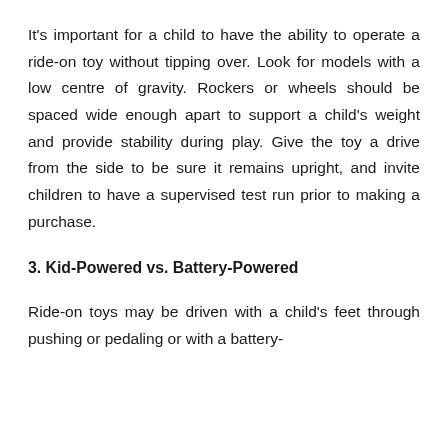It's important for a child to have the ability to operate a ride-on toy without tipping over. Look for models with a low centre of gravity. Rockers or wheels should be spaced wide enough apart to support a child's weight and provide stability during play. Give the toy a drive from the side to be sure it remains upright, and invite children to have a supervised test run prior to making a purchase.
3. Kid-Powered vs. Battery-Powered
Ride-on toys may be driven with a child's feet through pushing or pedaling or with a battery-